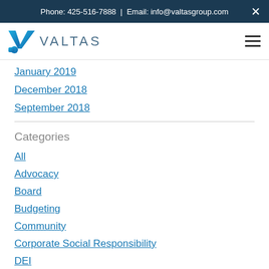Phone: 425-516-7888 | Email: info@valtasgroup.com
[Figure (logo): Valtas group logo with blue V checkmark and VALTAS text]
January 2019
December 2018
September 2018
Categories
All
Advocacy
Board
Budgeting
Community
Corporate Social Responsibility
DEI
Diversity
Ed Ross...Video Interview Tips (partial, cut off)